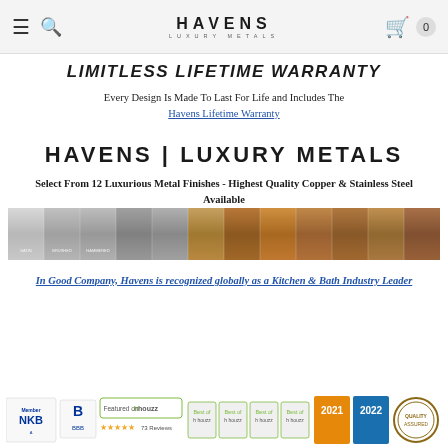HAVENS | LUXURY METALS — navigation bar with hamburger, search, logo, cart
LIMITLESS LIFETIME WARRANTY
Every Design Is Made To Last For Life and Includes The Havens Lifetime Warranty
HAVENS | LUXURY METALS
Select From 12 Luxurious Metal Finishes - Highest Quality Copper & Stainless Steel Available
[Figure (photo): Strip of 12 metal finish swatches ranging from silver stainless steel finishes on the left to copper and bronze finishes on the right]
In Good Company, Havens is recognized globally as a Kitchen & Bath Industry Leader
[Figure (logo): Awards and recognition logos: NKBA member, BBB, Featured on Houzz with 5-star rating, Best of Houzz badges for multiple years, 2021 and 2022 award badges, and a circular quality seal]